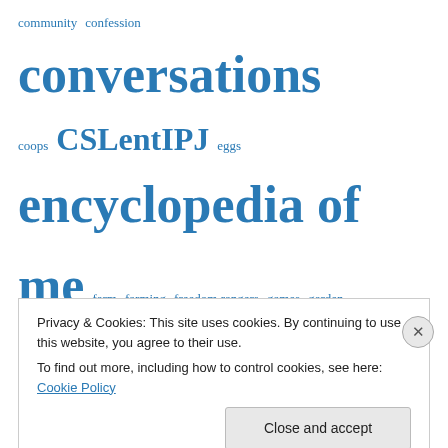[Figure (infographic): Tag cloud with blog post category links in varying font sizes, all in blue. Tags include: community, confession, conversations, coops, CSLentIPJ, eggs, encyclopedia of me, farm, farming, freedom rangers, games, garden, gardening, gideon, gofundme, holly bechiri, home improvement, hot wheels for rylie, i made this for you, k-rafting, kindergarten, lent, lent2014, letters to Abby, letters to Gideon, letters]
Privacy & Cookies: This site uses cookies. By continuing to use this website, you agree to their use.
To find out more, including how to control cookies, see here: Cookie Policy